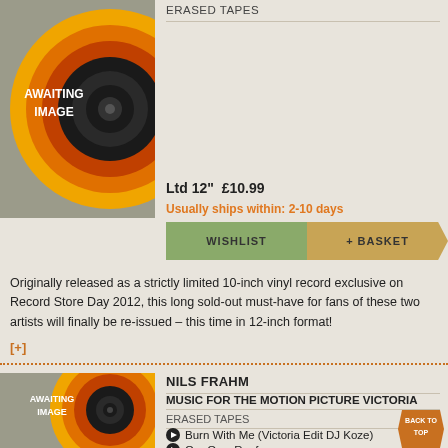[Figure (illustration): Awaiting image placeholder with vinyl record graphic, orange and yellow concentric circles on grey background]
ERASED TAPES
Ltd 12"  £10.99
Usually ships within: 2-10 days
WISHLIST
+ BASKET
Originally released as a strictly limited 10-inch vinyl record exclusive on Record Store Day 2012, this long sold-out must-have for fans of these two artists will finally be re-issued – this time in 12-inch format!
[+]
[Figure (illustration): Awaiting image placeholder with vinyl record graphic, orange and yellow concentric circles on grey background]
NILS FRAHM
MUSIC FOR THE MOTION PICTURE VICTORIA
ERASED TAPES
Burn With Me (Victoria Edit DJ Koze)
Our Own Roof